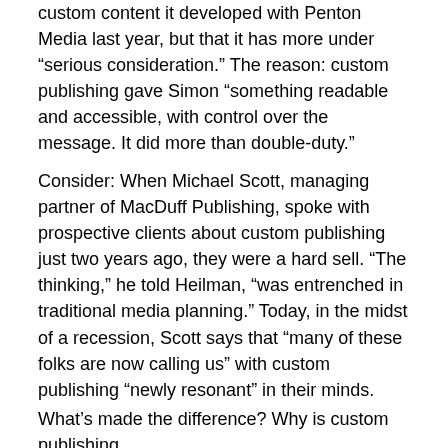custom content it developed with Penton Media last year, but that it has more under “serious consideration.” The reason: custom publishing gave Simon “something readable and accessible, with control over the message. It did more than double-duty.”
Consider: When Michael Scott, managing partner of MacDuff Publishing, spoke with prospective clients about custom publishing just two years ago, they were a hard sell. “The thinking,” he told Heilman, “was entrenched in traditional media planning.” Today, in the midst of a recession, Scott says that “many of these folks are now calling us” with custom publishing “newly resonant” in their minds.
What’s made the difference? Why is custom publishing